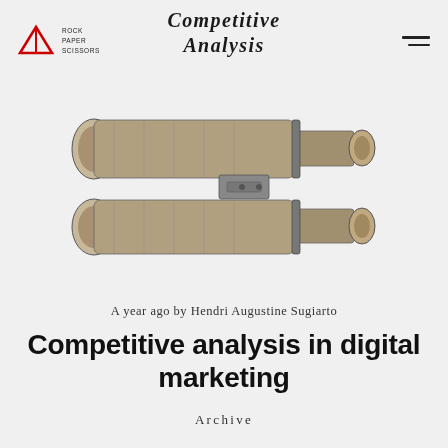Competitive Analysis
[Figure (illustration): Vintage engraving-style illustration of two binoculars or telescopes stacked on top of each other, drawn in black and white with detailed cross-hatching on a light gray background.]
A year ago by Hendri Augustine Sugiarto
Competitive analysis in digital marketing
Archive